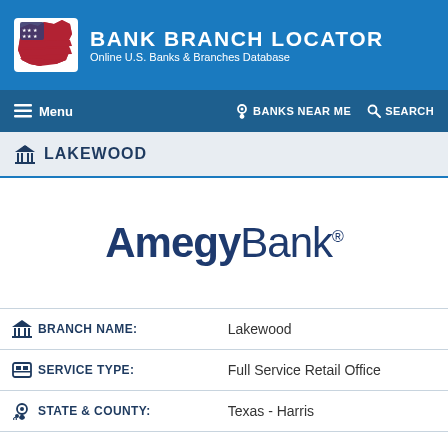BANK BRANCH LOCATOR — Online U.S. Banks & Branches Database
LAKEWOOD
[Figure (logo): AmegyBank. logo in dark navy blue]
| Field | Value |
| --- | --- |
| BRANCH NAME: | Lakewood |
| SERVICE TYPE: | Full Service Retail Office |
| STATE & COUNTY: | Texas - Harris |